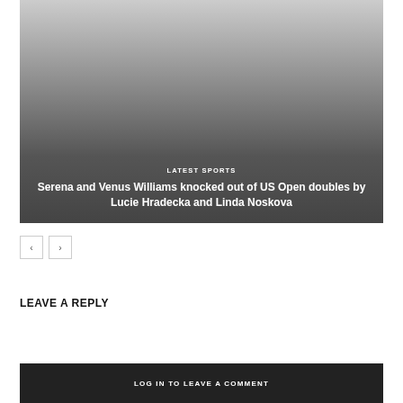[Figure (photo): Dark gradient image with sports article overlay showing category label and headline]
LATEST SPORTS
Serena and Venus Williams knocked out of US Open doubles by Lucie Hradecka and Linda Noskova
LEAVE A REPLY
LOG IN TO LEAVE A COMMENT